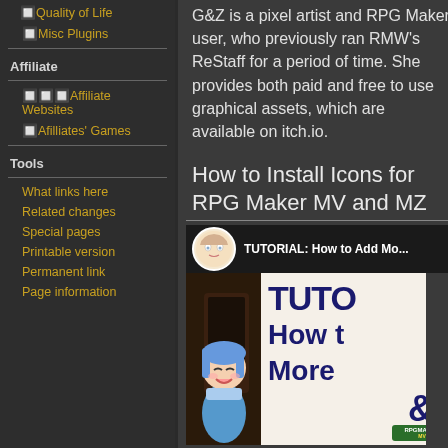🔲Quality of Life
🔲Misc Plugins
Affiliate
🔲🔲🔲Affiliate Websites
🔲Afilliates' Games
Tools
What links here
Related changes
Special pages
Printable version
Permanent link
Page information
G&Z is a pixel artist and RPG Maker user, who previously ran RMW's ReStaff for a period of time. She provides both paid and free to use graphical assets, which are available on itch.io.
How to Install Icons for RPG Maker MV and MZ
[Figure (screenshot): YouTube video thumbnail showing tutorial titled 'TUTORIAL: How to Add Mo...' with anime character and RPG Maker branding]